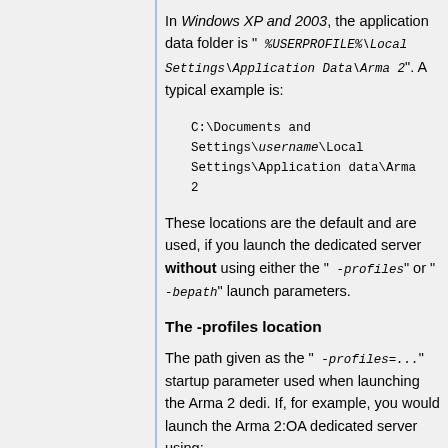In Windows XP and 2003, the application data folder is " %USERPROFILE%\Local Settings\Application Data\Arma 2". A typical example is:
C:\Documents and Settings\username\Local Settings\Application data\Arma 2
These locations are the default and are used, if you launch the dedicated server without using either the " -profiles " or " -bepath " launch parameters.
The -profiles location
The path given as the " -profiles=... " startup parameter used when launching the Arma 2 dedi. If, for example, you would launch the Arma 2:OA dedicated server using: